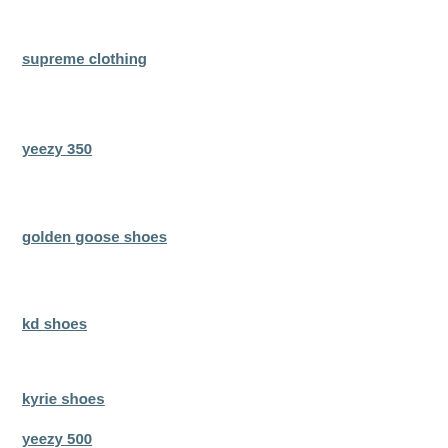supreme clothing
yeezy 350
golden goose shoes
kd shoes
kyrie shoes
yeezy 500